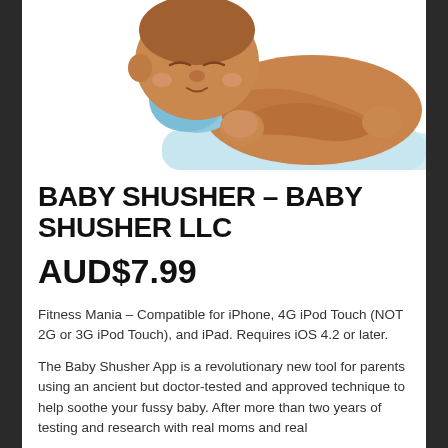[Figure (illustration): Illustration of a sleeping baby lying on its stomach with arms folded, wearing a light blue outfit, on a light blue surface. Warm skin tones, cartoon/vector style.]
BABY SHUSHER - BABY SHUSHER LLC
AUD$7.99
Fitness Mania – Compatible for iPhone, 4G iPod Touch (NOT 2G or 3G iPod Touch), and iPad. Requires iOS 4.2 or later.
The Baby Shusher App is a revolutionary new tool for parents using an ancient but doctor-tested and approved technique to help soothe your fussy baby. After more than two years of testing and research with real moms and real